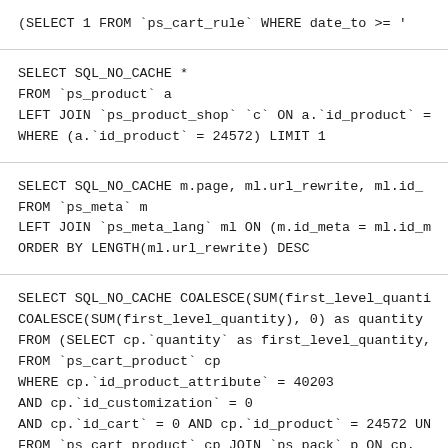(SELECT 1 FROM `ps_cart_rule` WHERE date_to >= '
SELECT SQL_NO_CACHE *
FROM `ps_product` a
LEFT JOIN `ps_product_shop` `c` ON a.`id_product` =
WHERE (a.`id_product` = 24572) LIMIT 1
SELECT SQL_NO_CACHE m.page, ml.url_rewrite, ml.id_
FROM `ps_meta` m
LEFT JOIN `ps_meta_lang` ml ON (m.id_meta = ml.id_m
ORDER BY LENGTH(ml.url_rewrite) DESC
SELECT SQL_NO_CACHE COALESCE(SUM(first_level_quanti
COALESCE(SUM(first_level_quantity), 0) as quantity
FROM (SELECT cp.`quantity` as first_level_quantity,
FROM `ps_cart_product` cp
WHERE cp.`id_product_attribute` = 40203
AND cp.`id_customization` = 0
AND cp.`id_cart` = 0 AND cp.`id_product` = 24572 UN
FROM `ps_cart_product` cp JOIN `ps_pack` p ON cp.